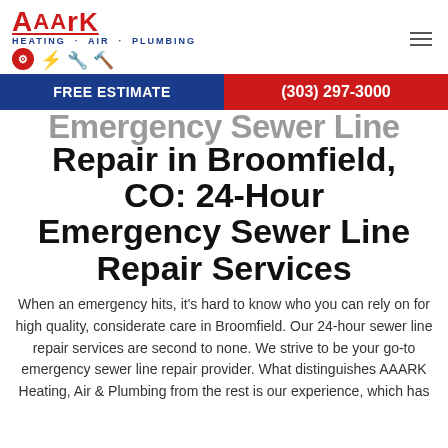AAARK HEATING - AIR - PLUMBING
FREE ESTIMATE  (303) 297-3000
Emergency Sewer Line Repair in Broomfield, CO: 24-Hour Emergency Sewer Line Repair Services
When an emergency hits, it’s hard to know who you can rely on for high quality, considerate care in Broomfield. Our 24-hour sewer line repair services are second to none. We strive to be your go-to emergency sewer line repair provider. What distinguishes AAARK Heating, Air & Plumbing from the rest is our experience, which has